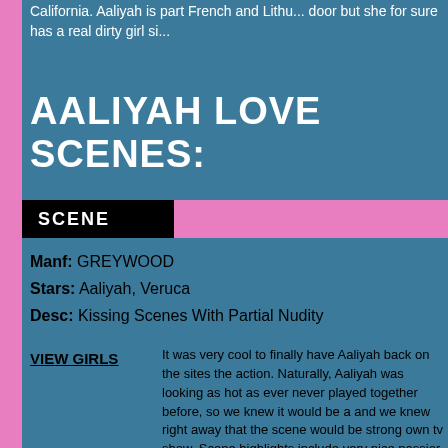California. Aaliyah is part French and Lithu... door but she for sure has a real dirty girl si...
AALIYAH LOVE SCENES:
SCENE
Manf: GREYWOOD
Stars: Aaliyah, Veruca
Desc: Kissing Scenes With Partial Nudity
VIEW GIRLS
It was very cool to finally have Aaliyah back on the sites the action. Naturally, Aaliyah was looking as hot as ever never played together before, so we knew it would be a and we knew right away that the scene would be strong own tv show. Scene highlights include very nice passior was totally cool to have Aaliyah again, hopefully we car satisfy your kissing cravings, and pass along your thoug